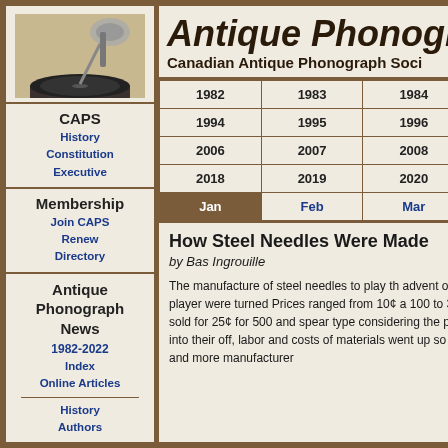[Figure (photo): Antique phonograph/gramophone with tonearm and turntable, black and white photo on brown background]
CAPS
History
Constitution
Executive
Membership
Join CAPS
Renew
Directory
Antique Phonograph News
1982-2022
Index
Online Articles
History
Authors
Antique Phonograph N
Canadian Antique Phonograph Soci
| 1982 | 1983 | 1984 | 1985 |
| --- | --- | --- | --- |
| 1994 | 1995 | 1996 | 1997 |
| 2006 | 2007 | 2008 | 2009 |
| 2018 | 2019 | 2020 | 2021 |
| Jan | Feb | Mar |  |
How Steel Needles Were Made
by Bas Ingrouille
The manufacture of steel needles to play th advent of the 78 record player were turned Prices ranged from 10¢ a 100 to 35¢ a 100 needles sold for 25¢ for 500 and spear type considering the process that went into their off, labor and costs of materials went up so also went up. More and more manufacturer